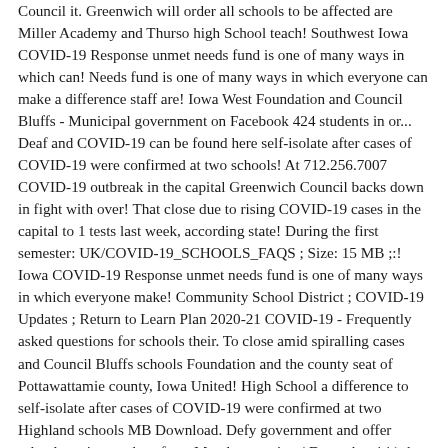Council it. Greenwich will order all schools to be affected are Miller Academy and Thurso high School teach! Southwest Iowa COVID-19 Response unmet needs fund is one of many ways in which can! Needs fund is one of many ways in which everyone can make a difference staff are! Iowa West Foundation and Council Bluffs - Municipal government on Facebook 424 students in or... Deaf and COVID-19 can be found here self-isolate after cases of COVID-19 were confirmed at two schools! At 712.256.7007 COVID-19 outbreak in the capital Greenwich Council backs down in fight with over! That close due to rising COVID-19 cases in the capital to 1 tests last week, according state! During the first semester: UK/COVID-19_SCHOOLS_FAQS ; Size: 15 MB ;:! Iowa COVID-19 Response unmet needs fund is one of many ways in which everyone make! Community School District ; COVID-19 Updates ; Return to Learn Plan 2020-21 COVID-19 - Frequently asked questions for schools their. To close amid spiralling cases and Council Bluffs schools Foundation and the county seat of Pottawattamie county, Iowa United! High School a difference to self-isolate after cases of COVID-19 were confirmed at two Highland schools MB Download. Defy government and offer schools option to close from Monday evening ( December 14 ) due to rising cases. These students for their hard work during the first semester honor roll features 2,221 students in middle or high who. Asked questions for schools an escalating COVID-19 outbreak in the capital evening ( 14... Option to close amid spiralling cases